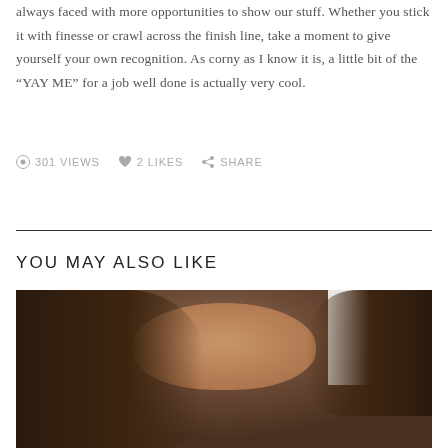always faced with more opportunities to show our stuff. Whether you stick it with finesse or crawl across the finish line, take a moment to give yourself your own recognition. As corny as I know it is, a little bit of the “YAY ME” for a job well done is actually very cool.
301 VIEWS  2 LIKES  SHARE
YOU MAY ALSO LIKE
[Figure (photo): Photo of a woman with long dark brown hair, taking a selfie. White room/cabinet visible in background.]